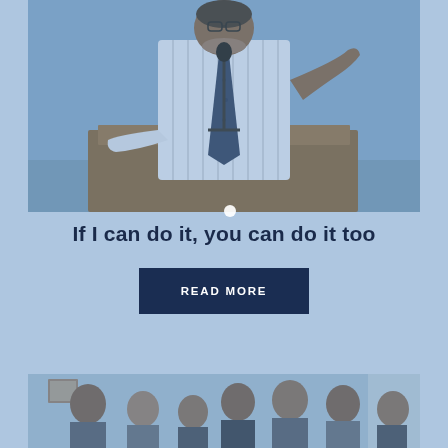[Figure (photo): Man in striped shirt and dark tie speaking at a podium with a microphone, gesturing with one hand raised. Photo has a blue tint overlay.]
If I can do it, you can do it too
READ MORE
[Figure (photo): Group of men standing together in a room, partial view cut off at bottom of page. Photo has a blue tint overlay.]